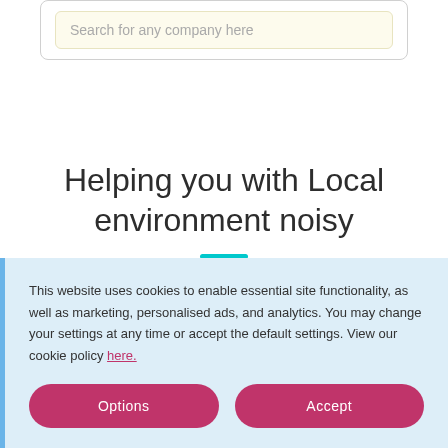[Figure (screenshot): Search input box with placeholder text 'Search for any company here' inside a cream/beige rounded box, all within a white rounded container with light border]
Helping you with Local environment noisy
This website uses cookies to enable essential site functionality, as well as marketing, personalised ads, and analytics. You may change your settings at any time or accept the default settings. View our cookie policy here.
Options
Accept